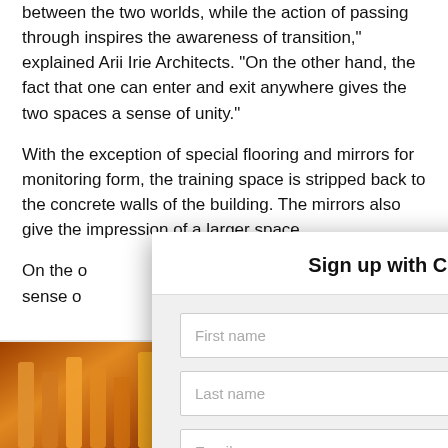between the two worlds, while the action of passing through inspires the awareness of transition," explained Arii Irie Architects. "On the other hand, the fact that one can enter and exit anywhere gives the two spaces a sense of unity."
With the exception of special flooring and mirrors for monitoring form, the training space is stripped back to the concrete walls of the building. The mirrors also give the impression of a larger space.
On the o[obscured by modal]e a sense o[obscured by modal]
Arii Irie A[obscured by modal]n
[Figure (photo): Left: warm orange/amber decorative columns or architectural elements. Right: dark industrial ceiling/mechanical space in grey tones.]
[Figure (screenshot): Modal dialog: Sign up with CLAD for regular news updates. Contains First name, Last name, Email fields and a SIGN UP button. Has an orange X close button.]